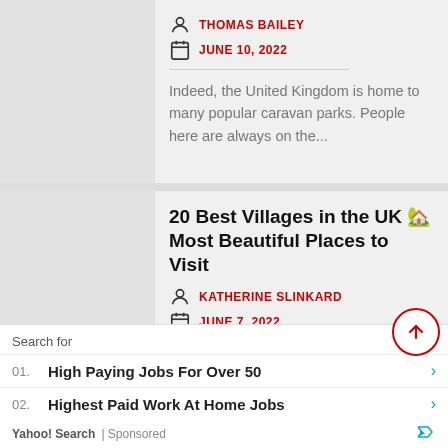THOMAS BAILEY
JUNE 10, 2022
Indeed, the United Kingdom is home to many popular caravan parks. People here are always on the...
20 Best Villages in the UK 🏡 Most Beautiful Places to Visit
KATHERINE SLINKARD
JUNE 7, 2022
Undoubtedly, the United Kingdom is home to the most charming...
Search for
01. High Paying Jobs For Over 50
02. Highest Paid Work At Home Jobs
Yahoo! Search | Sponsored